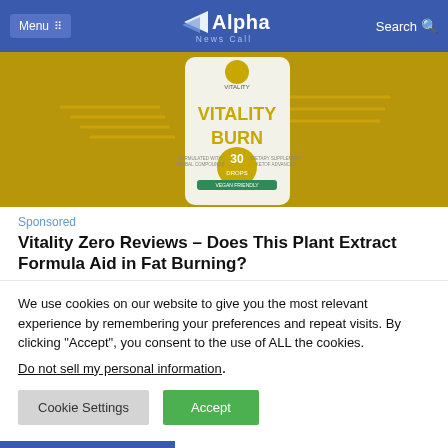Menu  |  Alpha News Call  |  Search
[Figure (photo): Vitality Burn dietary supplement bottle with golden background and decorative arrows]
Sponsored
Vitality Zero Reviews – Does This Plant Extract Formula Aid in Fat Burning?
We use cookies on our website to give you the most relevant experience by remembering your preferences and repeat visits. By clicking “Accept”, you consent to the use of ALL the cookies.
Do not sell my personal information.